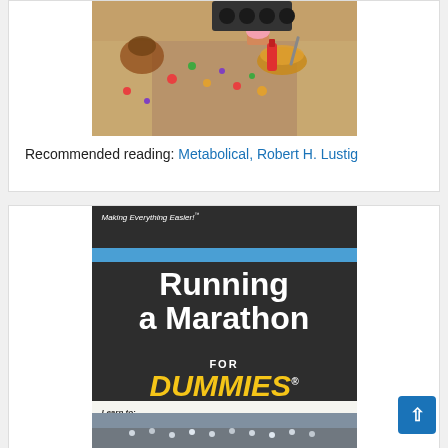[Figure (photo): Photo of a table with food items including cupcakes and sweets, associated with 'Metabolical' book recommendation]
Recommended reading: Metabolical, Robert H. Lustig
[Figure (photo): Book cover of 'Running a Marathon FOR DUMMIES' - Making Everything Easier! Dark background with large white title text and yellow DUMMIES logo. Bottom section shows Learn to: Train for your first marathon, with a photo of marathon runners.]